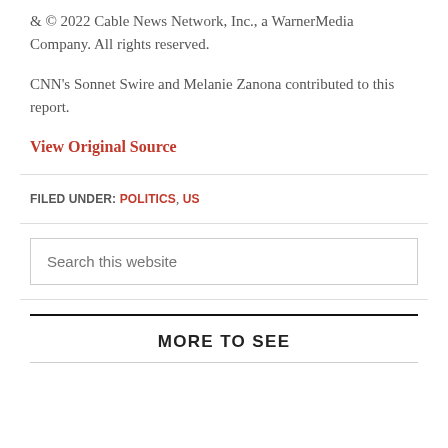& © 2022 Cable News Network, Inc., a WarnerMedia Company. All rights reserved.
CNN's Sonnet Swire and Melanie Zanona contributed to this report.
View Original Source
FILED UNDER: POLITICS, US
Search this website
MORE TO SEE